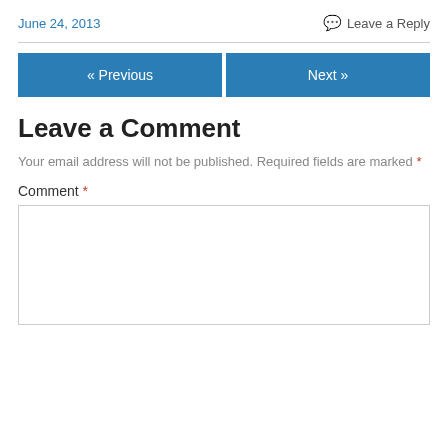June 24, 2013
Leave a Reply
« Previous
Next »
Leave a Comment
Your email address will not be published. Required fields are marked *
Comment *